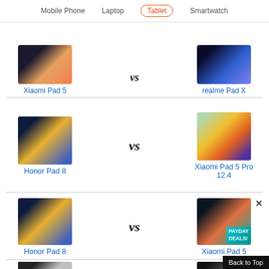Mobile Phone  Laptop  Tablet  Smartwatch
Xiaomi Pad 5
vs
realme Pad X
Honor Pad 8
vs
Xiaomi Pad 5 Pro 12.4
Honor Pad 8
vs
Xiaomi Pad 5
Back to Top